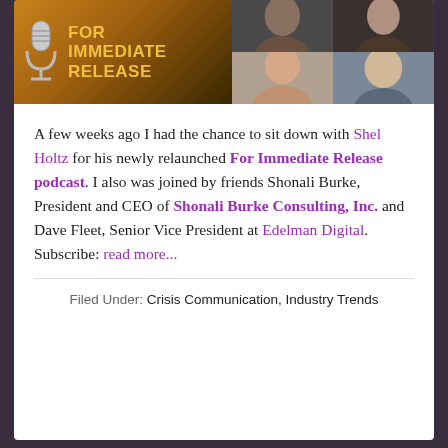[Figure (photo): Banner image for 'For Immediate Release' podcast with microphone logo and golden text on left, and three portrait photos on right]
A few weeks ago I had the chance to sit down with Shel Holtz for his newly relaunched For Immediate Release podcast. I also was joined by friends Shonali Burke, President and CEO of Shonali Burke Consulting, Inc. and Dave Fleet, Senior Vice President at Edelman Digital. Subscribe: read more...
Filed Under: Crisis Communication, Industry Trends